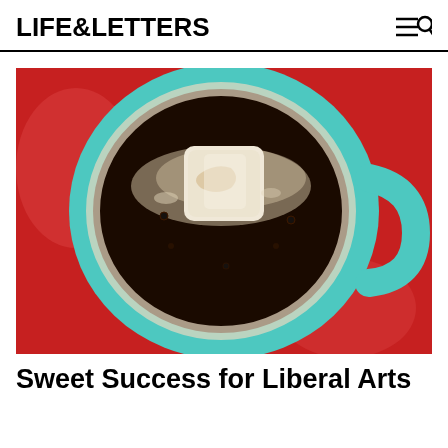LIFE&LETTERS
[Figure (photo): Overhead view of a teal/turquoise coffee mug filled with dark coffee and a marshmallow floating on top, set on a red background surface.]
Sweet Success for Liberal Arts Entrepreneurs